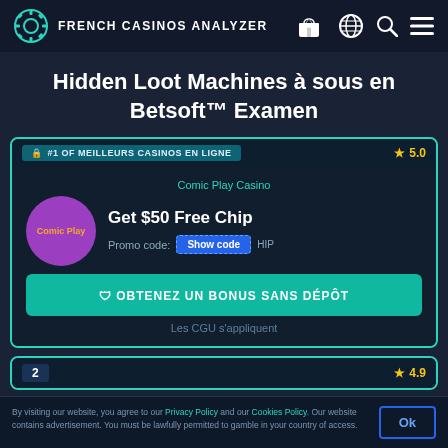FRENCH CASINOS ANALYZER
Hidden Loot Machines à sous en Betsoft™ Examen
#1 OF MEILLEURS CASINOS EN LIGNE — ★ 5.0
Comic Play Casino
Get $50 Free Chip
Promo code: Show code | HIP
OBTENEZ UN BONUS SANS DÉPÔT
Les CGU s'appliquent
2 — ★ 4.9
By visiting our website, you agree to our Privacy Policy and our Cookies Policy. Our website contains advertisement. You must be lawfully permitted to gamble in your country of access.